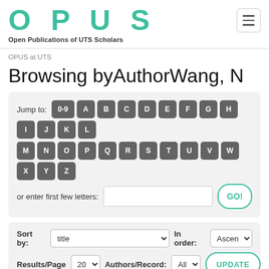OPUS — Open Publications of UTS Scholars
OPUS at UTS
Browsing byAuthorWang, N
Jump to: 0-9 A B C D E F G H I J K L M N O P Q R S T U V W X Y Z or enter first few letters: [input] GO!
Sort by: title  In order: Ascending  Results/Page 20  Authors/Record: All  UPDATE